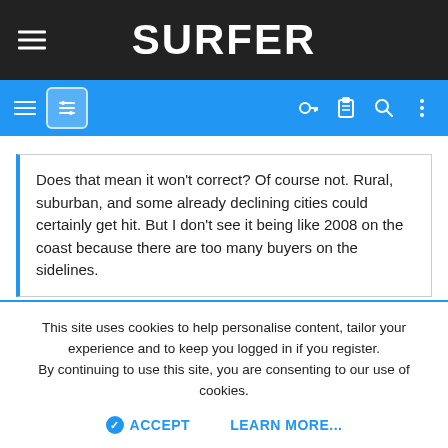SURFER
Does that mean it won't correct? Of course not. Rural, suburban, and some already declining cities could certainly get hit. But I don't see it being like 2008 on the coast because there are too many buyers on the sidelines.
There's no way anyone can anticipate when or what kind of a correction there will be or what will cause the correction.
Everyone fixates on the circumstances of the housing crisis of 2008 -
This site uses cookies to help personalise content, tailor your experience and to keep you logged in if you register.
By continuing to use this site, you are consenting to our use of cookies.